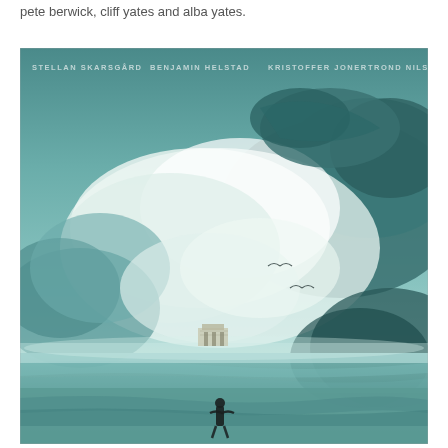pete berwick, cliff yates and alba yates.
[Figure (photo): Movie poster with stormy seascape: dramatic teal and white clouds filling the sky, two birds in flight, a small lighthouse or building in the middle distance over calm water, and a silhouetted figure standing in shallow water in the foreground. Actor names overlaid at top: STELLAN SKARSGÅRD, BENJAMIN HELSTAD, KRISTOFFER JONER, TROND NILSSEN.]